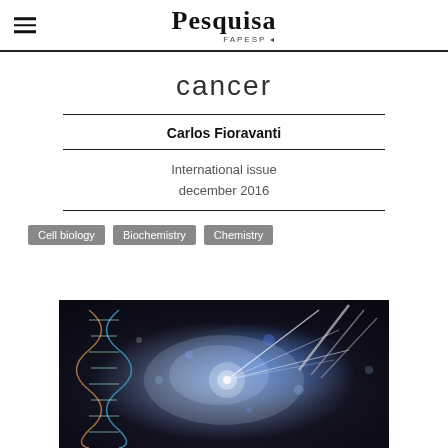Pesquisa FAPESP
cancer
Carlos Fioravanti
International issue
december 2016
Cell biology
Biochemistry
Chemistry
[Figure (photo): Scientific illustration showing a DNA double helix strand with laser beams and light effects, suggesting cancer research or gene therapy]